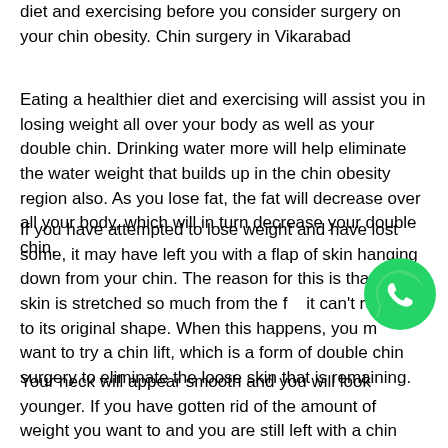diet and exercising before you consider surgery on your chin obesity. Chin surgery in Vikarabad
Eating a healthier diet and exercising will assist you in losing weight all over your body as well as your double chin. Drinking water more will help eliminate the water weight that builds up in the chin obesity region also. As you lose fat, the fat will decrease over all your body, which will in turn decrease your double chin.
If you have attempted to lose weight and have lost some, it may have left you with a flap of skin hanging down from your chin. The reason for this is that the skin is stretched so much from the fat it can't restore to its original shape. When this happens, you may want to try a chin lift, which is a form of double chin surgery to eliminate the loose skin that is remaining.
[Figure (logo): WhatsApp green phone logo icon]
Your neck will appear smooth and you will look younger. If you have gotten rid of the amount of weight you want to and you are still left with a chin obesity, you may want to consider liposuction.